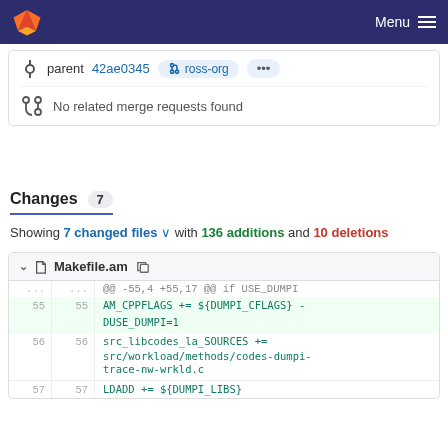GitLab — Menu
parent 42ae0345  ross-org  •••
No related merge requests found
Changes 7
Showing 7 changed files ∨ with 136 additions and 10 deletions
Makefile.am
| old line | new line | code |
| --- | --- | --- |
| ... | ... | @@ -55,4 +55,17 @@ if USE_DUMPI |
| 55 | 55 | AM_CPPFLAGS += ${DUMPI_CFLAGS} -DUSE_DUMPI=1 |
| 56 | 56 | src_libcodes_la_SOURCES += src/workload/methods/codes-dumpi-trace-nw-wrkld.c |
| 57 | 57 | LDADD += ${DUMPI_LIBS} |